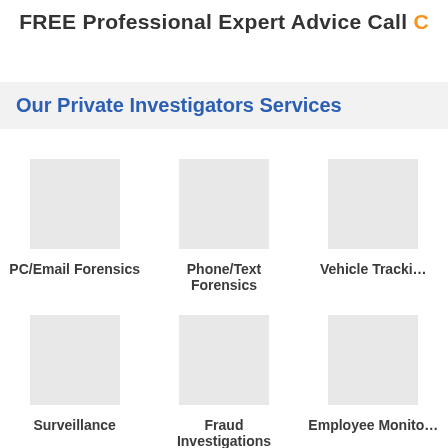FREE Professional Expert Advice Call
Our Private Investigators Services
PC/Email Forensics
Phone/Text Forensics
Vehicle Tracking
Surveillance
Fraud Investigations
Employee Monitoring